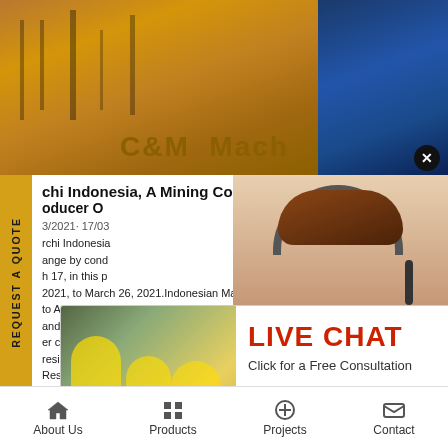[Figure (screenshot): Screenshot of a mining company website (C&M Machinery) showing hero image of mining equipment, article content about a mining company, a live chat popup overlay, a customer service sidebar with woman wearing headset, and bottom navigation bar]
C&M Mach
chi Indonesia, A Mining Company
oducer of
3/2021· 17/03
rchi Indonesia
ange by cond
h 17, in this p
2021, to March 26, 2021.Indonesian Management | Baru Go
to April 2013, he was General Manager and Director at PT
and PT Kharisma Permai with a focus on the preparation o
er cathode SX-EW project at Wetar, East Indonesia. From 2
resident Mining Manager and Director at PT Indo Muro Ken
Resources during which period he was responsible for all mining
Home Purnama Pit is part of a large scaled mineralised district
ave any requests, ick here.
Quotation
Enquiry
drobilkalm@gmail.com
LIVE CHAT
Click for a Free Consultation
Chat now
Chat later
REQUEST A QUOTE
About Us   Products   Projects   Contact